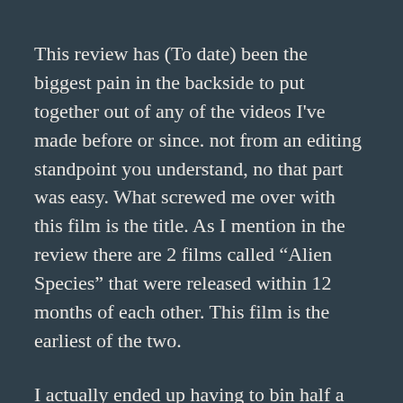This review has (To date) been the biggest pain in the backside to put together out of any of the videos I've made before or since. not from an editing standpoint you understand, no that part was easy. What screwed me over with this film is the title. As I mention in the review there are 2 films called “Alien Species” that were released within 12 months of each other. This film is the earliest of the two.
I actually ended up having to bin half a review I wrote for this movie purely because of the date and title confusion. as IMDB and a few other sites on the internet have seemingly confused to two to such a point now that there listings are pretty